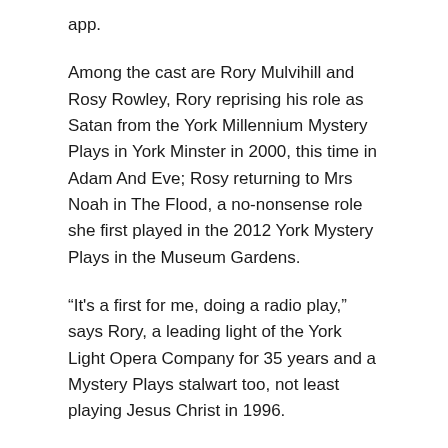app.
Among the cast are Rory Mulvihill and Rosy Rowley, Rory reprising his role as Satan from the York Millennium Mystery Plays in York Minster in 2000, this time in Adam And Eve; Rosy returning to Mrs Noah in The Flood, a no-nonsense role she first played in the 2012 York Mystery Plays in the Museum Gardens.
“It's a first for me, doing a radio play,” says Rory, a leading light of the York Light Opera Company for 35 years and a Mystery Plays stalwart too, not least playing Jesus Christ in 1996.